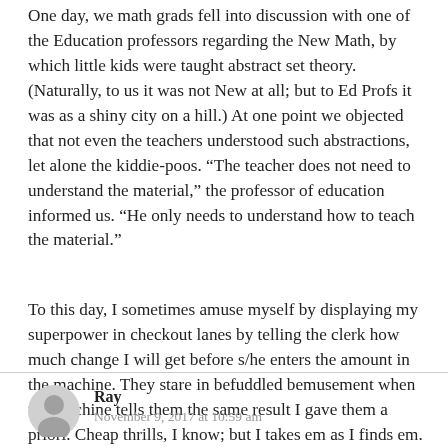One day, we math grads fell into discussion with one of the Education professors regarding the New Math, by which little kids were taught abstract set theory. (Naturally, to us it was not New at all; but to Ed Profs it was as a shiny city on a hill.) At one point we objected that not even the teachers understood such abstractions, let alone the kiddie-poos. “The teacher does not need to understand the material,” the professor of education informed us. “He only needs to understand how to teach the material.”
To this day, I sometimes amuse myself by displaying my superpower in checkout lanes by telling the clerk how much change I will get before s/he enters the amount in the machine. They stare in befuddled bemusement when the machine tells them the same result I gave them a priori. Cheap thrills, I know; but I takes em as I finds em.
Ray
November 9, 2017 at 10:59 am